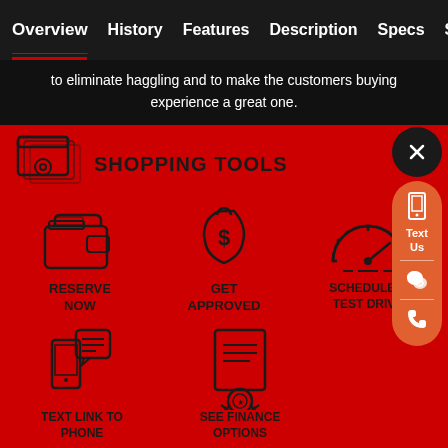Overview | History | Features | Description | Specs | Si...
to eliminate haggling and to make the customers buying experience a great one.
SHOPPING TOOLS
[Figure (infographic): Shopping tools section with icons: Reserve Now (wallet icon), Get Approved (money bag icon), Schedule a Test Drive (speedometer icon), Text Link to Phone (mobile chat icon), See Finance Options (document/certificate icon). Sidebar shows X close button, Text Us button, chat icon, and phone icon on orange pill.]
RESERVE NOW
GET APPROVED
SCHEDULE A TEST DRIVE
TEXT LINK TO PHONE
SEE FINANCE OPTIONS